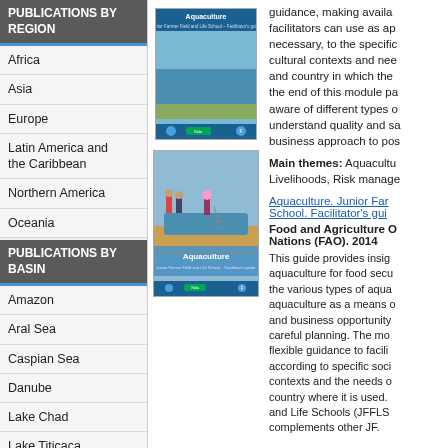PUBLICATIONS BY REGION
Africa
Asia
Europe
Latin America and the Caribbean
Northern America
Oceania
PUBLICATIONS BY BASIN
Amazon
Aral Sea
Caspian Sea
Danube
Lake Chad
Lake Titicaca
Lake Victoria
Mekong
Murray-Darling
[Figure (photo): Cover of Aquaculture Junior Farmer Field and Life School Facilitator's guide - top image]
[Figure (photo): Cover of Aquaculture Junior Farmer Field and Life School Facilitator's guide - bottom image showing children at a fish pond]
guidance, making available facilitators can use as appropriate, if necessary, to the specific socio-cultural contexts and needs of the community and country in which the... At the end of this module participants will be aware of different types of aquaculture, understand quality and safety, apply a business approach to post-harvest...
Main themes: Aquaculture, Food security, Livelihoods, Risk management
Aquaculture. Junior Farmer Field and Life School. Facilitator's guide
Food and Agriculture Organization of the United Nations (FAO). 2014
This guide provides insights on aquaculture for food security, covering the various types of aquaculture, aquaculture as a means of livelihoods and business opportunity, and the need for careful planning. The module provides flexible guidance to facilitators to adapt according to specific socio-cultural contexts and the needs of the specific country where it is used... Junior Farmer Field and Life Schools (JFFLS)... complements other JF...